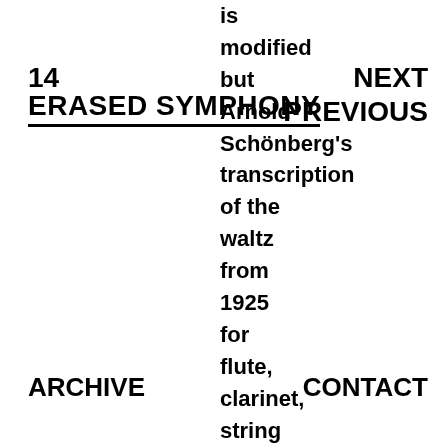14
ERASED SYMPHONY
NEXT
PREVIOUS
is modified but Arnold Schönberg's transcription of the waltz from 1925 for flute, clarinet, string quartet, and piano. This, in turn
ARCHIVE
CONTACT